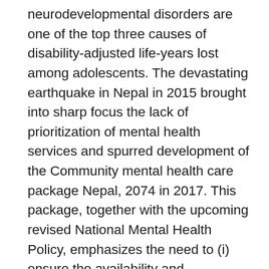neurodevelopmental disorders are one of the top three causes of disability-adjusted life-years lost among adolescents. The devastating earthquake in Nepal in 2015 brought into sharp focus the lack of prioritization of mental health services and spurred development of the Community mental health care package Nepal, 2074 in 2017. This package, together with the upcoming revised National Mental Health Policy, emphasizes the need to (i) ensure the availability and accessibility of basic mental health and psychosocial support services for all; and (ii) facilitate integration of mental health services into the primary health-care system. Recognizing that mental health and psychosocial support services have been predominantly focused on the adult population only, the package includes a component on childhood and adolescent mental and behavioural disorders. It will be essential for policy-makers to ensure that strategies are in place to ensure that left-behind adolescents, especially those who are not in school, have access to these